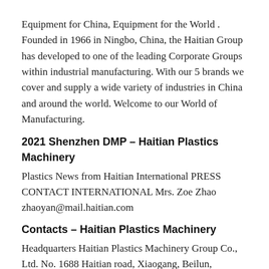Equipment for China, Equipment for the World . Founded in 1966 in Ningbo, China, the Haitian Group has developed to one of the leading Corporate Groups within industrial manufacturing. With our 5 brands we cover and supply a wide variety of industries in China and around the world. Welcome to our World of Manufacturing.
2021 Shenzhen DMP – Haitian Plastics Machinery
Plastics News from Haitian International PRESS CONTACT INTERNATIONAL Mrs. Zoe Zhao zhaoyan@mail.haitian.com
Contacts – Haitian Plastics Machinery
Headquarters Haitian Plastics Machinery Group Co., Ltd. No. 1688 Haitian road, Xiaogang, Beilun, Ningbo, P. R. China. Zipcode: 315801. Tel: + 86 574 86188888 (central
...